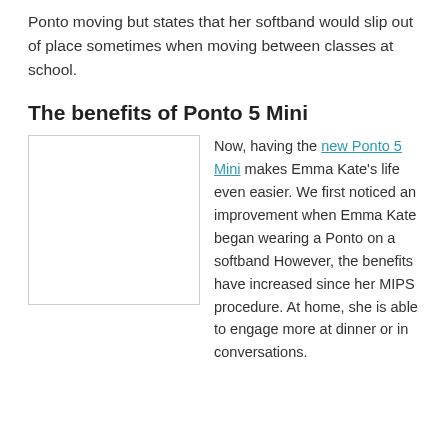Ponto moving but states that her softband would slip out of place sometimes when moving between classes at school.
The benefits of Ponto 5 Mini
[Figure (photo): Blank white image placeholder with light gray border, representing a photo of Emma Kate wearing the Ponto 5 Mini.]
Now, having the new Ponto 5 Mini makes Emma Kate's life even easier. We first noticed an improvement when Emma Kate began wearing a Ponto on a softband However, the benefits have increased since her MIPS procedure. At home, she is able to engage more at dinner or in conversations.